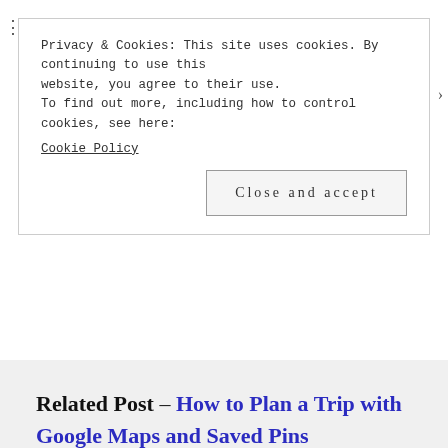Privacy & Cookies: This site uses cookies. By continuing to use this website, you agree to their use. To find out more, including how to control cookies, see here: Cookie Policy
Close and accept
Related Post – How to Plan a Trip with Google Maps and Saved Pins